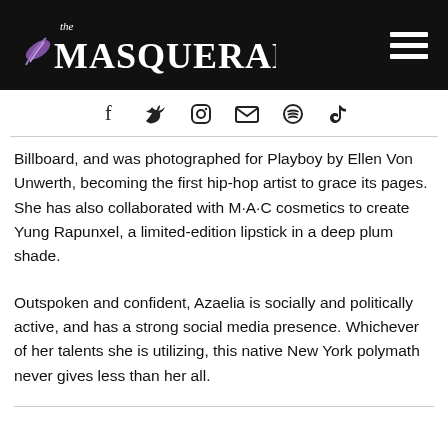the MASQUERADE
[Figure (infographic): Social media icons row: Facebook, Twitter, Instagram, Email, Spotify, TikTok]
Billboard, and was photographed for Playboy by Ellen Von Unwerth, becoming the first hip-hop artist to grace its pages. She has also collaborated with M·A·C cosmetics to create Yung Rapunxel, a limited-edition lipstick in a deep plum shade.
Outspoken and confident, Azaelia is socially and politically active, and has a strong social media presence. Whichever of her talents she is utilizing, this native New York polymath never gives less than her all.